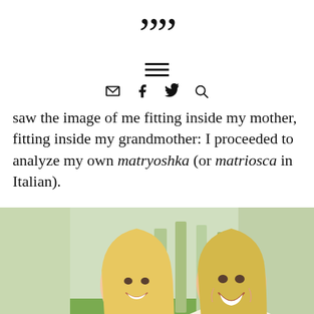quotemark logo, hamburger menu, navigation icons (email, facebook, twitter, search)
saw the image of me fitting inside my mother, fitting inside my grandmother: I proceeded to analyze my own matryoshka (or matriosca in Italian).
[Figure (photo): Two women smiling outdoors — a younger blonde woman and an older blonde woman with a cream shawl, trees and green grass in background]